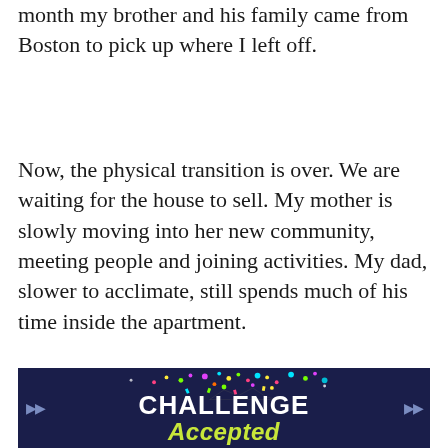month my brother and his family came from Boston to pick up where I left off.
Now, the physical transition is over. We are waiting for the house to sell. My mother is slowly moving into her new community, meeting people and joining activities. My dad, slower to acclimate, still spends much of his time inside the apartment.
[Figure (illustration): Dark navy blue banner with colorful confetti/particles at the top, arrows on left and right sides, bold white text reading 'CHALLENGE' and stylized yellow-green italic text reading 'Accepted']